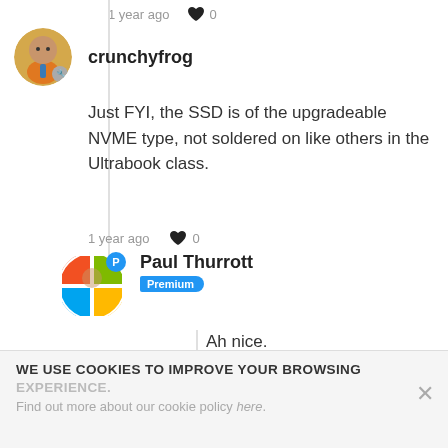1 year ago ♥ 0
crunchyfrog
Just FYI, the SSD is of the upgradeable NVME type, not soldered on like others in the Ultrabook class.
1 year ago ♥ 0
Paul Thurrott Premium
Ah nice.
1 year ago ♥ 0
crunchyfrog
WE USE COOKIES TO IMPROVE YOUR BROWSING EXPERIENCE. Find out more about our cookie policy here.